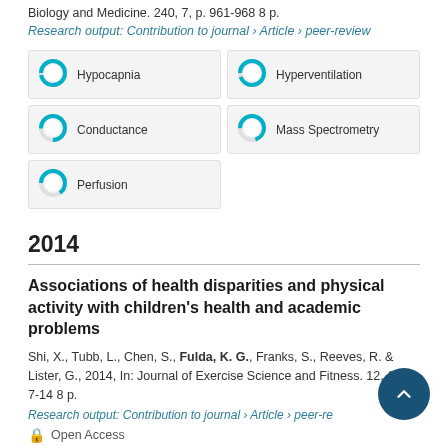Biology and Medicine. 240, 7, p. 961-968 8 p.
Research output: Contribution to journal › Article › peer-review
[Figure (infographic): Five keyword badges with donut-chart percentage icons: Hypocapnia (~100%), Hyperventilation (~95%), Conductance (~75%), Mass Spectrometry (~70%), Perfusion (~65%)]
2014
Associations of health disparities and physical activity with children's health and academic problems
Shi, X., Tubb, L., Chen, S., Fulda, K. G., Franks, S., Reeves, R. & Lister, G., 2014, In: Journal of Exercise Science and Fitness. 12, 1, p. 7-14 8 p.
Research output: Contribution to journal › Article › peer-review
Open Access
[Figure (infographic): Two partially visible keyword badges at bottom: Child Health (left, ~100%), Child Health (right, ~85%)]